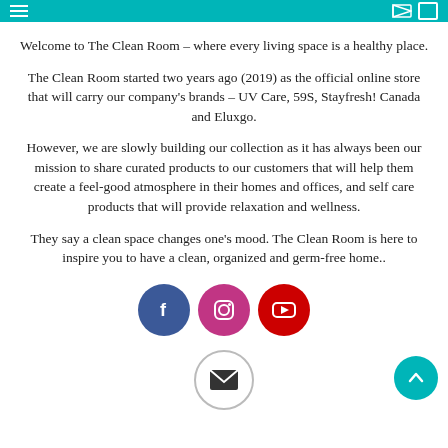Navigation header bar with hamburger menu and icons
Welcome to The Clean Room – where every living space is a healthy place.
The Clean Room started two years ago (2019) as the official online store that will carry our company's brands – UV Care, 59S, Stayfresh! Canada and Eluxgo.
However, we are slowly building our collection as it has always been our mission to share curated products to our customers that will help them create a feel-good atmosphere in their homes and offices, and self care products that will provide relaxation and wellness.
They say a clean space changes one's mood. The Clean Room is here to inspire you to have a clean, organized and germ-free home..
[Figure (infographic): Three social media icon circles: Facebook (blue), Instagram (pink/magenta), YouTube (red), followed by a partial envelope circle icon and a teal back-to-top arrow button]